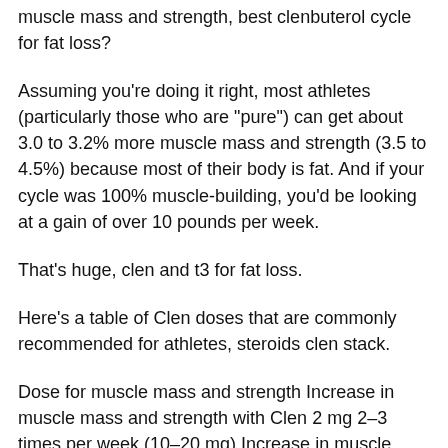muscle mass and strength, best clenbuterol cycle for fat loss?
Assuming you're doing it right, most athletes (particularly those who are "pure") can get about 3.0 to 3.2% more muscle mass and strength (3.5 to 4.5%) because most of their body is fat. And if your cycle was 100% muscle-building, you'd be looking at a gain of over 10 pounds per week.
That's huge, clen and t3 for fat loss.
Here's a table of Clen doses that are commonly recommended for athletes, steroids clen stack.
Dose for muscle mass and strength Increase in muscle mass and strength with Clen 2 mg 2–3 times per week (10–20 mg) Increase in muscle mass and strength with Clen 3 mg 3–5 times per week (1–3 mg)